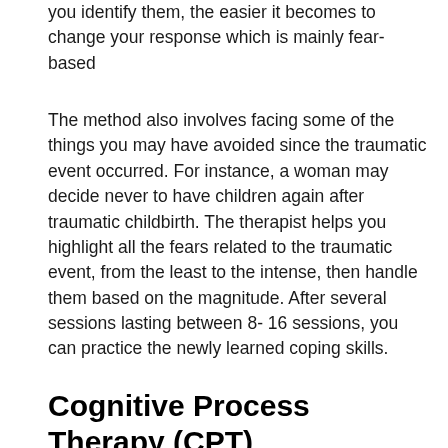you identify them, the easier it becomes to change your response which is mainly fear-based
The method also involves facing some of the things you may have avoided since the traumatic event occurred. For instance, a woman may decide never to have children again after traumatic childbirth. The therapist helps you highlight all the fears related to the traumatic event, from the least to the intense, then handle them based on the magnitude. After several sessions lasting between 8- 16 sessions, you can practice the newly learned coping skills.
Cognitive Process Therapy (CPT)